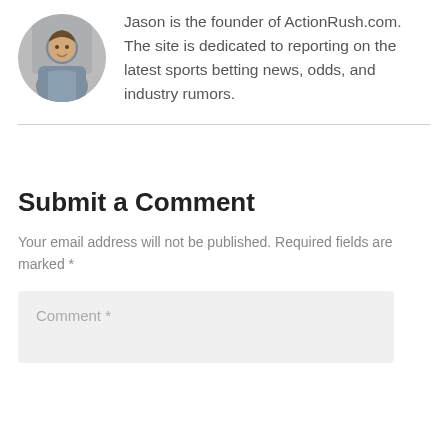[Figure (photo): Circular profile photo of Jason, a man in a plaid shirt]
Jason is the founder of ActionRush.com. The site is dedicated to reporting on the latest sports betting news, odds, and industry rumors.
Submit a Comment
Your email address will not be published. Required fields are marked *
Comment *